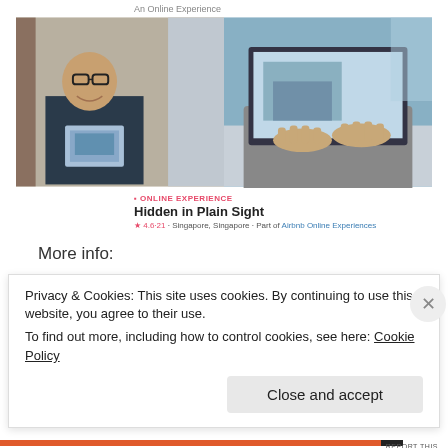An Online Experience
[Figure (photo): Two-panel photo: left panel shows a man holding a brochure/magazine, right panel shows hands typing on a laptop with a travel image on screen]
ONLINE EXPERIENCE
Hidden in Plain Sight
★ 4.6-21 · Singapore, Singapore · Part of Airbnb Online Experiences
More info:
Airbnb Experiences and the Singapore Tourism Board Launch Partnership to Support International Tourism Recovery (STB)
Partnering with the Singapore Tourism Board to Promote Tourism
Privacy & Cookies: This site uses cookies. By continuing to use this website, you agree to their use.
To find out more, including how to control cookies, see here: Cookie Policy
Close and accept